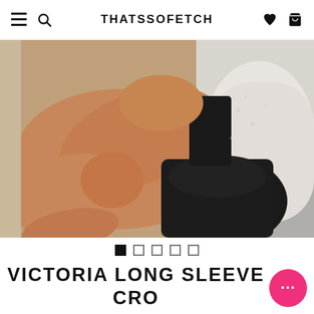THATSSOFETCH
[Figure (photo): Close-up photo of a person wearing a black strapless mini dress, sitting in a white textured chair. The image shows their legs and torso, with the black fabric of the dress visible. Background shows a light grey concrete floor.]
VICTORIA LONG SLEEVE CRO BLACK